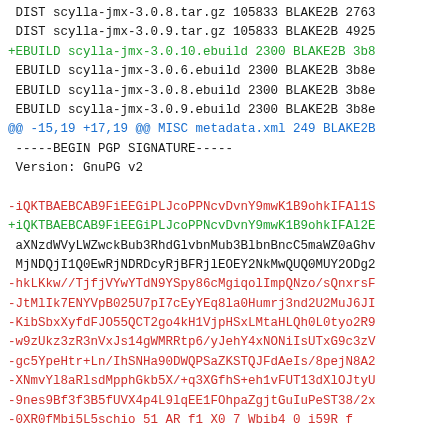DIST scylla-jmx-3.0.8.tar.gz 105833 BLAKE2B 2763
 DIST scylla-jmx-3.0.9.tar.gz 105833 BLAKE2B 4925
+EBUILD scylla-jmx-3.0.10.ebuild 2300 BLAKE2B 3b8
 EBUILD scylla-jmx-3.0.6.ebuild 2300 BLAKE2B 3b8e
 EBUILD scylla-jmx-3.0.8.ebuild 2300 BLAKE2B 3b8e
 EBUILD scylla-jmx-3.0.9.ebuild 2300 BLAKE2B 3b8e
@@ -15,19 +17,19 @@ MISC metadata.xml 249 BLAKE2B
 -----BEGIN PGP SIGNATURE-----
 Version: GnuPG v2

-iQKTBAEBCAB9FiEEGiPLJcoPPNcvDvnY9mwK1B9ohkIFAl1S
+iQKTBAEBCAB9FiEEGiPLJcoPPNcvDvnY9mwK1B9ohkIFAl2E
 aXNzdWVyLWZwckBub3RhdGlvbnMub3BlbnBncC5maWZ0aGho
 MjNDQjI1Q0EwRjNDRDcyRjBFRjlEOEY2NkMwQUQ0MUY2ODg2
-hkLKkw//TjfjVYwYTdN9YSpy86cMgiqolImpQNzo/sQnxrsF
-JtMlIk7ENYVpB025U7pI7cEyYEq8la0Humrj3nd2U2MuJ6JI
-KibSbxXyfdFJO55QCT2go4kH1VjpHSxLMtaHLQh0L0tyo2R9
-w9zUkz3zR3nVxJs14gWMRRtp6/yJehY4xNONiIsUTxG9c3zV
-gc5YpeHtr+Ln/IhSNHa90DWQPSaZKSTQJFdAeIs/8pejN8A2
-XNmvYl8aRlsdMpphGkb5X/+q3XGfhS+eh1vFUT13dXlOJtyU
-9nes9Bf3f3B5fUVX4p4L9lqEE1FOhpaZgjtGuIuPeST38/2x
-0XR0fMbi5L5schio 51 AR f1 X0 7 Wbib4 0 i59R f